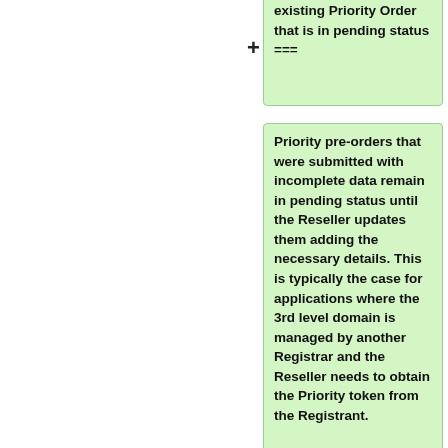existing Priority Order that is in pending status ===
Priority pre-orders that were submitted with incomplete data remain in pending status until the Reseller updates them adding the necessary details. This is typically the case for applications where the 3rd level domain is managed by another Registrar and the Reseller needs to obtain the Priority token from the Registrant.
The extra fields for this command are the same as described above under AddDomainApplication